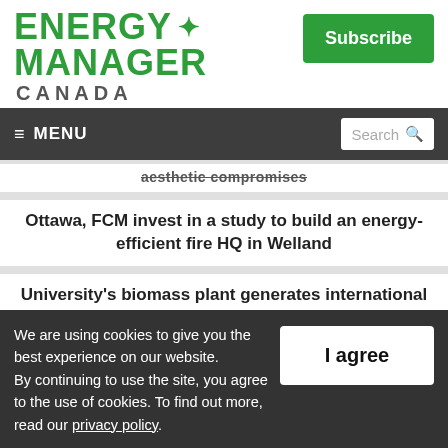ENERGY MANAGER CANADA
Subscribe
≡ MENU   Search
aesthetic compromises
Ottawa, FCM invest in a study to build an energy-efficient fire HQ in Welland
University's biomass plant generates international accolades for energy-efficiency
We are using cookies to give you the best experience on our website.
By continuing to use the site, you agree to the use of cookies. To find out more, read our privacy policy.
I agree